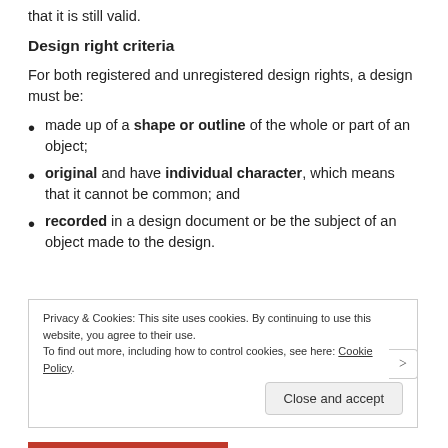that it is still valid.
Design right criteria
For both registered and unregistered design rights, a design must be:
made up of a shape or outline of the whole or part of an object;
original and have individual character, which means that it cannot be common; and
recorded in a design document or be the subject of an object made to the design.
Privacy & Cookies: This site uses cookies. By continuing to use this website, you agree to their use. To find out more, including how to control cookies, see here: Cookie Policy
Close and accept